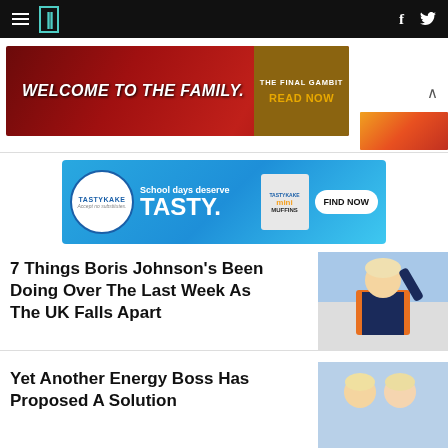HuffPost navigation bar with logo, hamburger menu, Facebook and Twitter icons
[Figure (infographic): Advertisement banner: 'WELCOME TO THE FAMILY.' with 'THE FINAL GAMBIT / READ NOW' on dark red background]
[Figure (infographic): Tastykake advertisement: 'School days deserve TASTY.' with mini muffins and FIND NOW button on blue background]
7 Things Boris Johnson's Been Doing Over The Last Week As The UK Falls Apart
[Figure (photo): Photo of Boris Johnson in orange high-visibility vest waving]
Yet Another Energy Boss Has Proposed A Solution